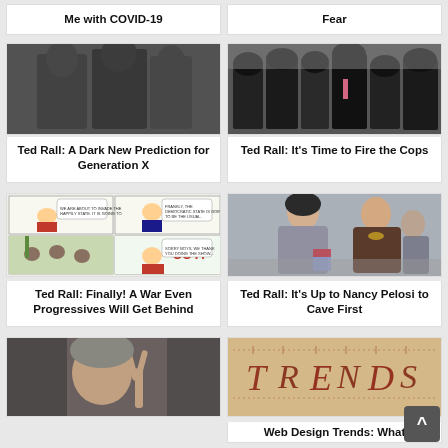Me with COVID-19
Fear
[Figure (photo): Black and white photo of three young women]
Ted Rall: A Dark New Prediction for Generation X
[Figure (photo): Police officers in tactical gear on a street]
Ted Rall: It's Time to Fire the Cops
[Figure (illustration): Political cartoon comic strip featuring Trump with CUT! text]
Ted Rall: Finally! A War Even Progressives Will Get Behind
[Figure (photo): Two women, one in grey hoodie and one in dark jacket, holding small flags]
Ted Rall: It's Up to Nancy Pelosi to Cave First
[Figure (photo): Man making a peace sign gesture, black and white]
[Figure (photo): Colorful TRENDS text design on beige background]
Web Design Trends: What